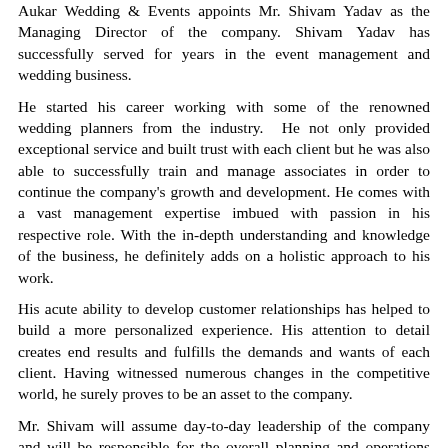Aukar Wedding & Events appoints Mr. Shivam Yadav as the Managing Director of the company. Shivam Yadav has successfully served for years in the event management and wedding business.
He started his career working with some of the renowned wedding planners from the industry.  He not only provided exceptional service and built trust with each client but he was also able to successfully train and manage associates in order to continue the company's growth and development.  He comes with a vast management expertise imbued with passion in his respective role. With the in-depth understanding and knowledge of the business, he definitely adds on a holistic approach to his work.
His acute ability to develop customer relationships has helped to build a more personalized experience. His attention to detail creates end results and fulfills the demands and wants of each client. Having witnessed numerous changes in the competitive world, he surely proves to be an asset to the company.
Mr. Shivam will assume day-to-day leadership of the company and will be responsible for the overall planning and operations majorly of the company's Mumbai division. In order to offer an end-to-end solution, Mr. Yadav will now be introducing logistics, hospitality, entertainment, among other services as he truly believes in having and offering a 360-degree approach to their end users.
On the appointment, Mr. Shivam Yadav, Managing Director